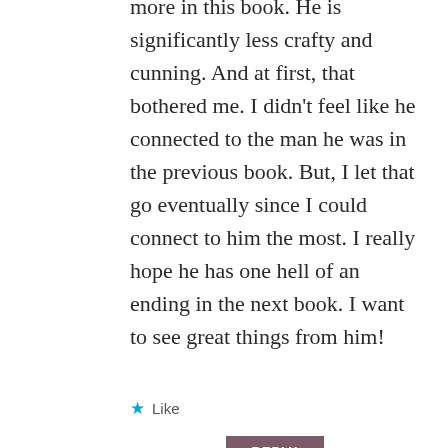more in this book. He is significantly less crafty and cunning. And at first, that bothered me. I didn't feel like he connected to the man he was in the previous book. But, I let that go eventually since I could connect to him the most. I really hope he has one hell of an ending in the next book. I want to see great things from him!
Like
REPLY
[Figure (logo): Circular black avatar with teal/cyan GTL text logo for Grab the Lapels blog]
Grab the Lapels
AUGUST 12, 2019 AT 10:40 PM